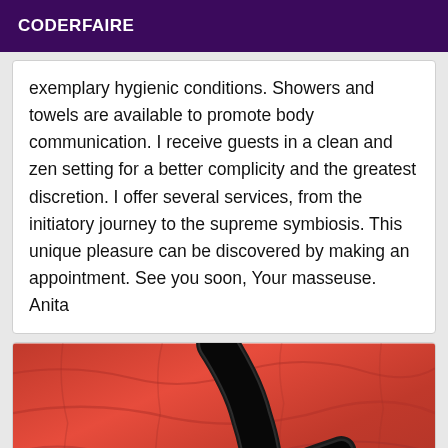CODERFAIRE
exemplary hygienic conditions. Showers and towels are available to promote body communication. I receive guests in a clean and zen setting for a better complicity and the greatest discretion. I offer several services, from the initiatory journey to the supreme symbiosis. This unique pleasure can be discovered by making an appointment. See you soon, Your masseuse. Anita
[Figure (photo): Person wearing black glittery long gloves against a crinkled red/orange fabric background, hand visible at bottom]